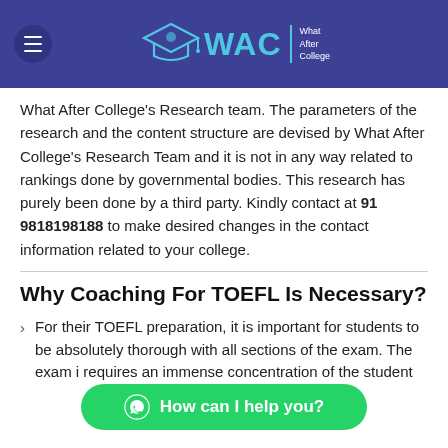[Figure (logo): WAC - What After College logo with graduation cap on dark blue/indigo header background, with hamburger menu button on left]
What After College's Research team. The parameters of the research and the content structure are devised by What After College's Research Team and it is not in any way related to rankings done by governmental bodies. This research has purely been done by a third party. Kindly contact at 91 9818198188 to make desired changes in the contact information related to your college.
Why Coaching For TOEFL Is Necessary?
For their TOEFL preparation, it is important for students to be absolutely thorough with all sections of the exam. The exam i… requires an immense concentration of the student